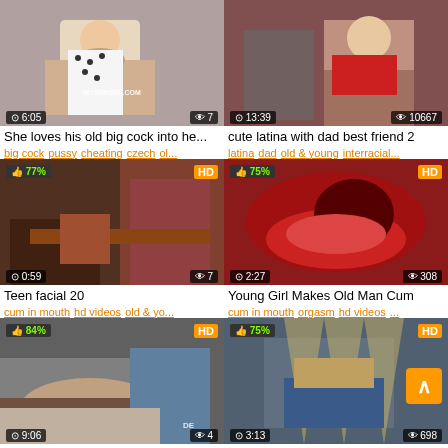[Figure (screenshot): Thumbnail 1: woman in polka dot dress, time 6:05, views 7, watermark MYSONSGF.COM]
She loves his old big cock into he...
big cock pussy cheating czech ol...
[Figure (screenshot): Thumbnail 2: man and woman, time 13:39, views 10667]
cute latina with dad best friend 2
latina dad old & young interracial...
[Figure (screenshot): Thumbnail 3: 77% HD, time 0:59, views 7]
Teen facial 20
cum in mouth hd videos old & yo...
[Figure (screenshot): Thumbnail 4: 75% HD, time 2:27, views 308]
Young Girl Makes Old Man Cum
cum in mouth orgasm hd videos ...
[Figure (screenshot): Thumbnail 5: 84% HD, time 9:06, views 4]
Debt4k. If she likes new cars she...
homemade rough sex doggy styl...
[Figure (screenshot): Thumbnail 6: 75% HD, time 3:13, views 698]
Bangla movie hot sog Poly sh...
gorom masala song cute be...
[Figure (screenshot): Partial thumbnail row: 81% HD and another thumbnail partially visible]